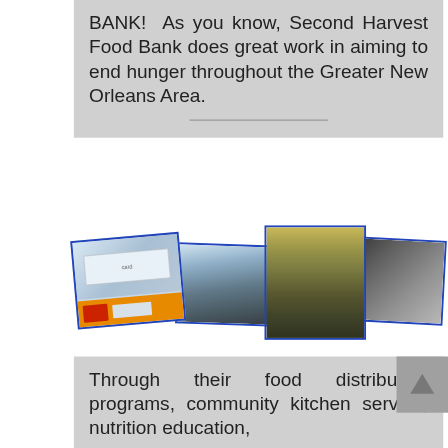BANK!  As you know, Second Harvest Food Bank does great work in aiming to end hunger throughout the Greater New Orleans Area.
[Figure (photo): Collage of four photos related to Second Harvest Food Bank: a promotional card with logos, volunteers/community members outdoors, a food distribution line with trays of food, and a woman holding a document.]
Through their food distribution programs, community kitchen service, nutrition education,